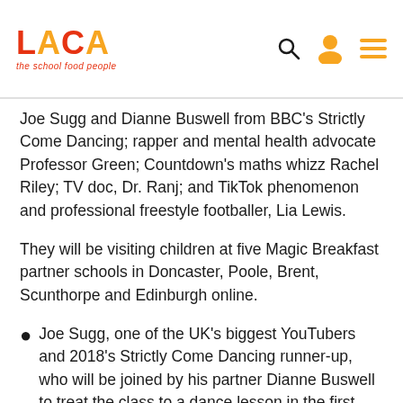LACA – the school food people
Joe Sugg and Dianne Buswell from BBC's Strictly Come Dancing; rapper and mental health advocate Professor Green; Countdown's maths whizz Rachel Riley; TV doc, Dr. Ranj; and TikTok phenomenon and professional freestyle footballer, Lia Lewis.
They will be visiting children at five Magic Breakfast partner schools in Doncaster, Poole, Brent, Scunthorpe and Edinburgh online.
Joe Sugg, one of the UK's biggest YouTubers and 2018's Strictly Come Dancing runner-up, who will be joined by his partner Dianne Buswell to treat the class to a dance lesson in the first VIB Club.
Professor Green, the multi-platinum rapper, songwriter and mental health advocate, will come